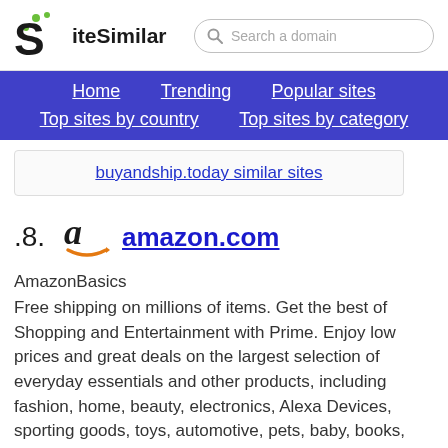[Figure (logo): SiteSimilar logo with stylized S and green dots]
Search a domain
Home | Trending | Popular sites | Top sites by country | Top sites by category
buyandship.today similar sites
8. amazon.com
AmazonBasics
Free shipping on millions of items. Get the best of Shopping and Entertainment with Prime. Enjoy low prices and great deals on the largest selection of everyday essentials and other products, including fashion, home, beauty, electronics, Alexa Devices, sporting goods, toys, automotive, pets, baby, books, video